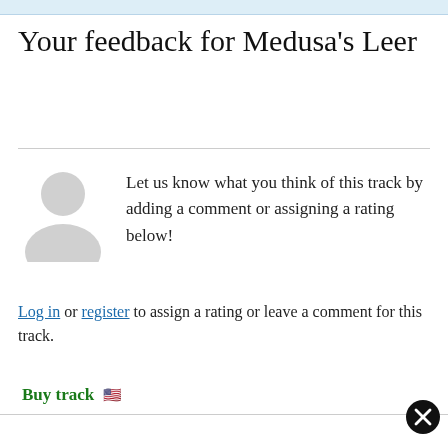Your feedback for Medusa's Leer
[Figure (illustration): Grey silhouette avatar icon of a person (head and shoulders)]
Let us know what you think of this track by adding a comment or assigning a rating below!
Log in or register to assign a rating or leave a comment for this track.
Buy track 🇺🇸